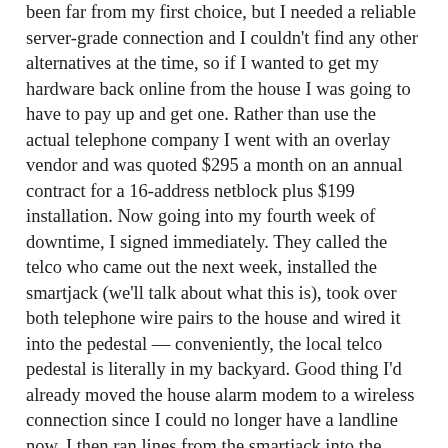been far from my first choice, but I needed a reliable server-grade connection and I couldn't find any other alternatives at the time, so if I wanted to get my hardware back online from the house I was going to have to pay up and get one. Rather than use the actual telephone company I went with an overlay vendor and was quoted $295 a month on an annual contract for a 16-address netblock plus $199 installation. Now going into my fourth week of downtime, I signed immediately. They called the telco who came out the next week, installed the smartjack (we'll talk about what this is), took over both telephone wire pairs to the house and wired it into the pedestal — conveniently, the local telco pedestal is literally in my backyard. Good thing I'd already moved the house alarm modem to a wireless connection since I could no longer have a landline now. I then ran lines from the smartjack into the server room (thanks to the telephone guys I used to work next to when I was consulting I already had good experience with a punchdown tool), the vendor came out the week after that with the T1 router, and finally Floodgap was back up.
The original idea was to use the T1 until something less expensive came along, but the T1 just plain worked and was